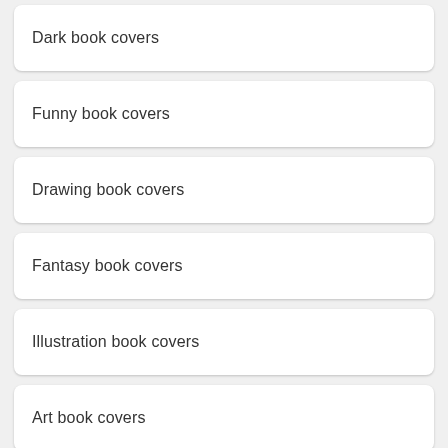Dark book covers
Funny book covers
Drawing book covers
Fantasy book covers
Illustration book covers
Art book covers
Aesthetic book covers